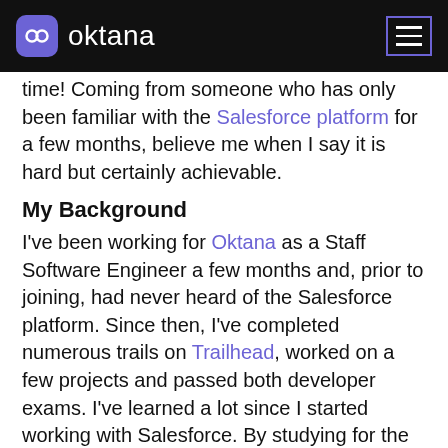oktana
time! Coming from someone who has only been familiar with the Salesforce platform for a few months, believe me when I say it is hard but certainly achievable.
My Background
I've been working for Oktana as a Staff Software Engineer a few months and, prior to joining, had never heard of the Salesforce platform. Since then, I've completed numerous trails on Trailhead, worked on a few projects and passed both developer exams. I've learned a lot since I started working with Salesforce. By studying for the exams as well as working on the projects I've gained a lot from...